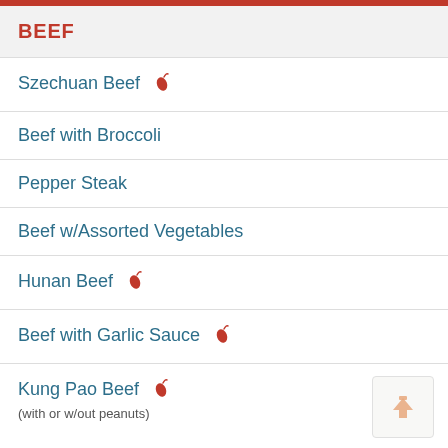BEEF
Szechuan Beef 🌶
Beef with Broccoli
Pepper Steak
Beef w/Assorted Vegetables
Hunan Beef 🌶
Beef with Garlic Sauce 🌶
Kung Pao Beef 🌶 (with or w/out peanuts)
Curry Beef 🌶
Mongolian Beef 🌶